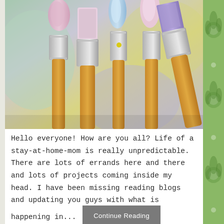[Figure (photo): Close-up photo of several paint brushes with colorful bristles (pink, blue, yellow, purple) and wooden/metallic handles, set against a blurred pastel background.]
Hello everyone! How are you all? Life of a stay-at-home-mom is really unpredictable. There are lots of errands here and there and lots of projects coming inside my head. I have been missing reading blogs and updating you guys with what is happening in... Continue Reading